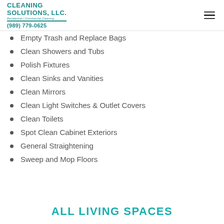Cleaning Solutions, LLC. Residential / Commercial Cleaning (989) 779-0625
Empty Trash and Replace Bags
Clean Showers and Tubs
Polish Fixtures
Clean Sinks and Vanities
Clean Mirrors
Clean Light Switches & Outlet Covers
Clean Toilets
Spot Clean Cabinet Exteriors
General Straightening
Sweep and Mop Floors
ALL LIVING SPACES